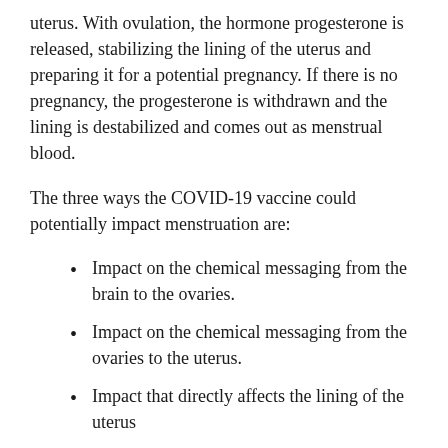uterus. With ovulation, the hormone progesterone is released, stabilizing the lining of the uterus and preparing it for a potential pregnancy. If there is no pregnancy, the progesterone is withdrawn and the lining is destabilized and comes out as menstrual blood.
The three ways the COVID-19 vaccine could potentially impact menstruation are:
Impact on the chemical messaging from the brain to the ovaries.
Impact on the chemical messaging from the ovaries to the uterus.
Impact that directly affects the lining of the uterus